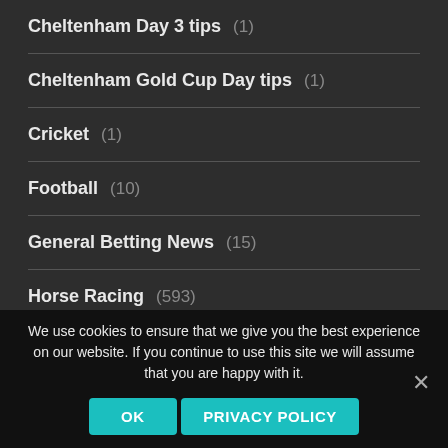Cheltenham Day 3 tips (1)
Cheltenham Gold Cup Day tips (1)
Cricket (1)
Football (10)
General Betting News (15)
Horse Racing (593)
Profit / Loss Reports (3)
We use cookies to ensure that we give you the best experience on our website. If you continue to use this site we will assume that you are happy with it.
OK   PRIVACY POLICY